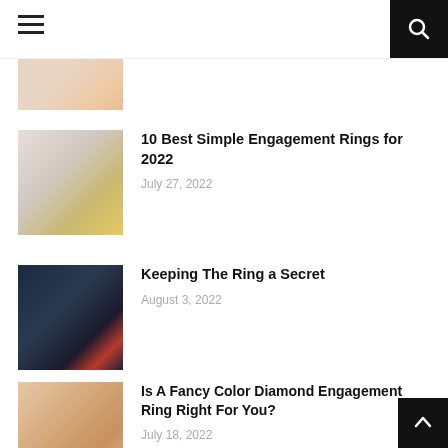Navigation bar with hamburger menu and search button
[Figure (photo): Partial thumbnail of an article, cropped at top]
10 Best Simple Engagement Rings for 2022
July 27, 2022
[Figure (photo): Hands holding a red ring box open, showing a diamond ring inside]
Keeping The Ring a Secret
August 3, 2022
[Figure (photo): Close-up of a hand wearing a fancy color diamond engagement ring]
Is A Fancy Color Diamond Engagement Ring Right For You?
July 18, 2022